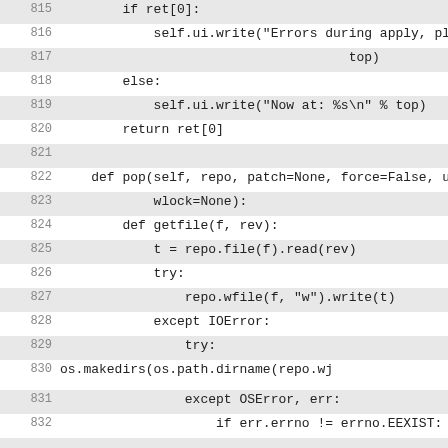Code listing lines 815-832, Python source code showing a pop function implementation with file operations
815: if ret[0]:
816: self.ui.write("Errors during apply, please fix and refresh %s\n" %
817: top)
818: else:
819: self.ui.write("Now at: %s\n" % top)
820: return ret[0]
821:
822: def pop(self, repo, patch=None, force=False, update=True, all=False,
823: wlock=None):
824: def getfile(f, rev):
825: t = repo.file(f).read(rev)
826: try:
827: repo.wfile(f, "w").write(t)
828: except IOError:
829: try:
830: os.makedirs(os.path.dirname(repo.wj
831: except OSError, err:
832: if err.errno != errno.EEXIST: raise